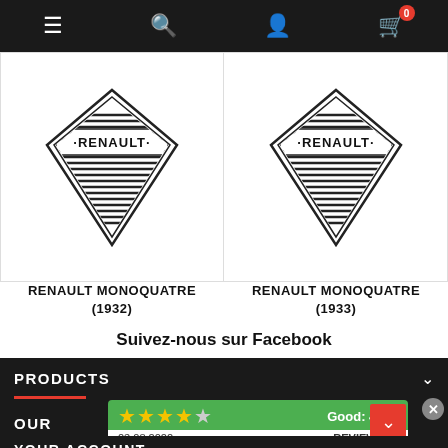[Figure (screenshot): Navigation bar with hamburger menu, search icon, user account icon, and shopping cart icon with badge showing 0]
[Figure (logo): Renault diamond logo (vintage style, horizontal stripes) for RENAULT MONOQUATRE 1932]
RENAULT MONOQUATRE (1932)
[Figure (logo): Renault diamond logo (vintage style, horizontal stripes) for RENAULT MONOQUATRE 1933]
RENAULT MONOQUATRE (1933)
Suivez-nous sur Facebook
PRODUCTS
OUR
[Figure (infographic): Green rating widget showing 4 full stars and 1 empty star, Good: 4.4/5, date 23.08.2022, REVIEWS link]
YOUR ACCOUNT